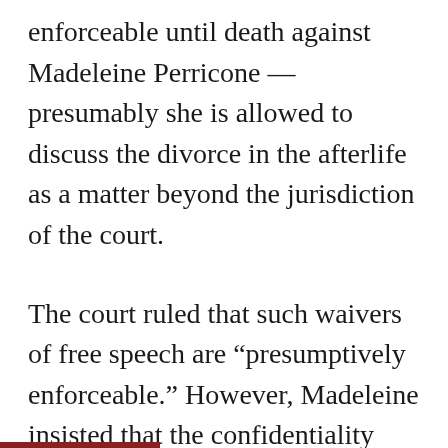enforceable until death against Madeleine Perricone — presumably she is allowed to discuss the divorce in the afterlife as a matter beyond the jurisdiction of the court.
The court ruled that such waivers of free speech are “presumptively enforceable.” However, Madeleine insisted that the confidentiality agreement was signed before discovery for a limited purpose and